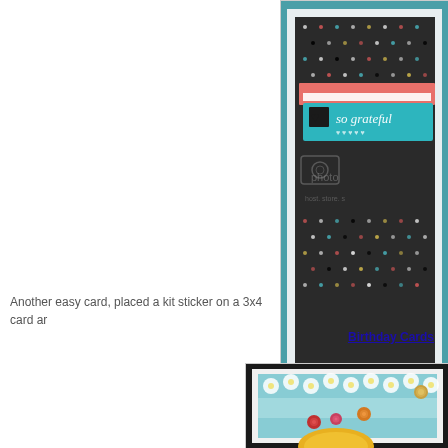[Figure (photo): A handmade greeting card with dark dotted background paper, featuring a coral/salmon colored banner and a teal/turquoise label with 'so grateful' text and heart motifs. A photobucket watermark is visible. The card is mounted on teal cardstock.]
Another easy card, placed a kit sticker on a 3x4 card ar
Birthday Cards
[Figure (photo): A birthday card with a light blue floral background, featuring colorful round embellishments (sequins/brads) and a yellow shape at the bottom. Card is matted with black and white layers.]